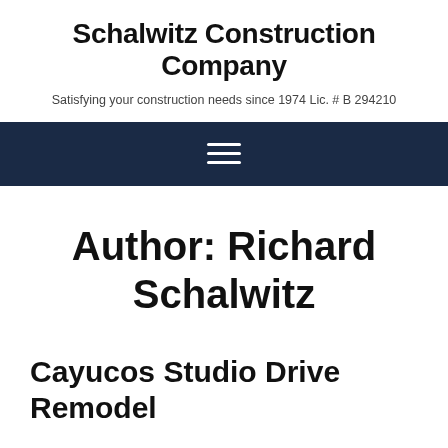Schalwitz Construction Company
Satisfying your construction needs since 1974 Lic. # B 294210
[Figure (other): Dark navy navigation bar with a hamburger menu icon (three horizontal white lines)]
Author: Richard Schalwitz
Cayucos Studio Drive Remodel
Richard Schalwitz   October 28, 2013